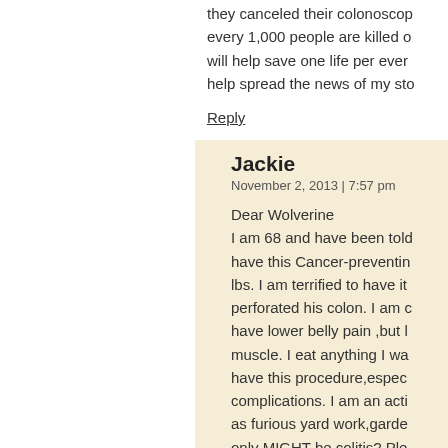they canceled their colonoscopy. every 1,000 people are killed o will help save one life per ever help spread the news of my sto
Reply
Jackie
November 2, 2013 | 7:57 pm
Dear Wolverine I am 68 and have been told have this Cancer-preventin lbs. I am terrified to have it perforated his colon. I am d have lower belly pain ,but l muscle. I eat anything I wa have this procedure,espec complications. I am an acti as furious yard work,garde only MIGHT be colitis? Ple taluvskids@att.net(Jackie)
Reply